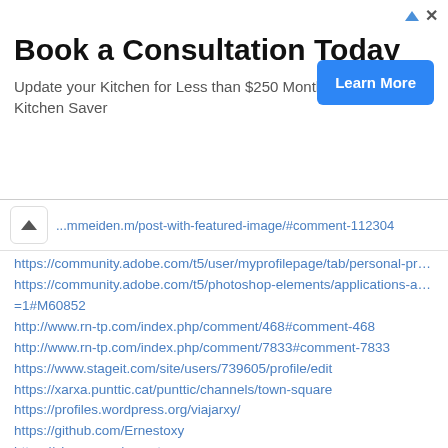[Figure (screenshot): Advertisement banner: 'Book a Consultation Today' with subtitle 'Update your Kitchen for Less than $250 Month Kitchen Saver' and a blue 'Learn More' button. Small ad icons (triangle and X) in top right.]
...mmeiden.m/post-with-featured-image/#comment-112304
https://community.adobe.com/t5/user/myprofilepage/tab/personal-profile:personal-i
https://community.adobe.com/t5/photoshop-elements/applications-available-in-trial =1#M60852
http://www.rn-tp.com/index.php/comment/468#comment-468
http://www.rn-tp.com/index.php/comment/7833#comment-7833
https://www.stageit.com/site/users/739605/profile/edit
https://xarxa.punttic.cat/punttic/channels/town-square
https://profiles.wordpress.org/viajarxy/
https://github.com/Ernestoxy
https://vimeo.com/ernestoxy
https://h30467.www3.hp.com/t5/user/myprofilepage/tab/personal-profile:personal-i
https://issuu.com/ernestoxy?issuu_product=header&issuu_subproduct=publisher-h u_cta=profile
https://www.ted.com/profiles/22805011
https://www.yelp.com/user_details?fsid=fMctF9gg2cM7eXTi1Psf4g&userid=GqxI8_
https://bandcamp.com/profile?id=2000667874